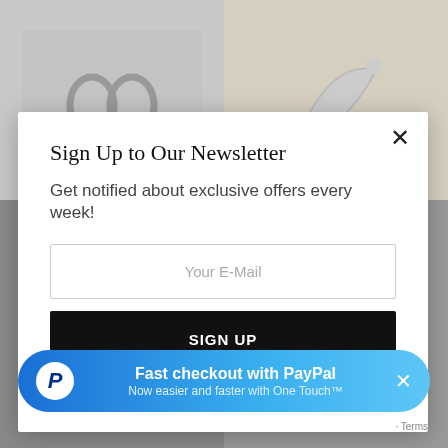[Figure (screenshot): Website background with two product photos of metal jewelry/accessories on light backgrounds, partially obscured by modal overlay]
Sign Up to Our Newsletter
Get notified about exclusive offers every week!
Your E-Mail
SIGN UP
I would like to receive news and special offers.
[Figure (infographic): PayPal Fast Checkout banner with blue gradient background, PayPal logo, text 'Fast checkout with PayPal - Now easier and faster with One Touch™', and close button]